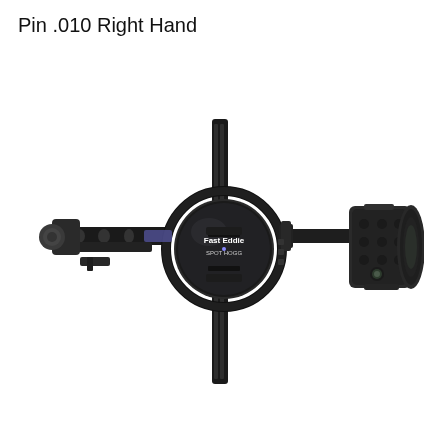Pin .010 Right Hand
[Figure (photo): A black archery bow sight with a circular sight ring in the center, labeled 'Fast Eddie Spot Hogg'. The sight has a crosshair frame with vertical and horizontal bars, a knob on the left side, mounting dovetail bars with holes, and a scope/lens assembly on the right side. The device is positioned on a white background.]